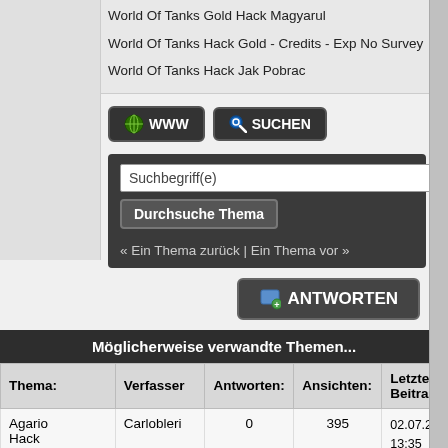World Of Tanks Gold Hack Magyarul
World Of Tanks Hack Gold - Credits - Exp No Survey
World Of Tanks Hack Jak Pobrac
[Figure (screenshot): WWW and SUCHEN buttons]
[Figure (screenshot): Search box with Suchbegriff(e) input, Durchsuche Thema button, and navigation links]
[Figure (screenshot): ANTWORTEN button]
Möglicherweise verwandte Themen...
| Thema: | Verfasser | Antworten: | Ansichten: | Letzter Beitrag |
| --- | --- | --- | --- | --- |
| Agario Hack Gameplay | Carlobleri | 0 | 395 | 02.07.21 13:35
Letzter Beitrag: Car |
| Gta 5 Hacks 2020 | Carlobleri | 0 | 326 | 02.07.21 13:25
Letzter Beitrag: Car |